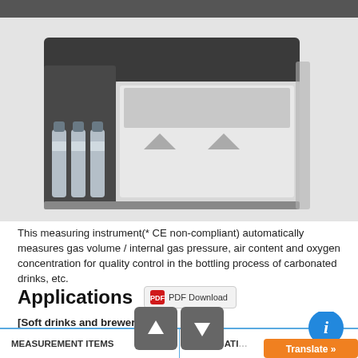[Figure (photo): Scientific measuring instrument for gas volume / internal gas pressure, air content and oxygen concentration measurement, shown with reagent bottles on the left side.]
This measuring instrument(* CE non-compliant) automatically measures gas volume / internal gas pressure, air content and oxygen concentration for quality control in the bottling process of carbonated drinks, etc.
Applications
[Soft drinks and brewery]
Can automatically measure gas volume / internal gas pressure, air content and oxygen concentration for quality control in the bottling process of soft drinks, etc.
| MEASUREMENT ITEMS | APPLICATIONS |
| --- | --- |